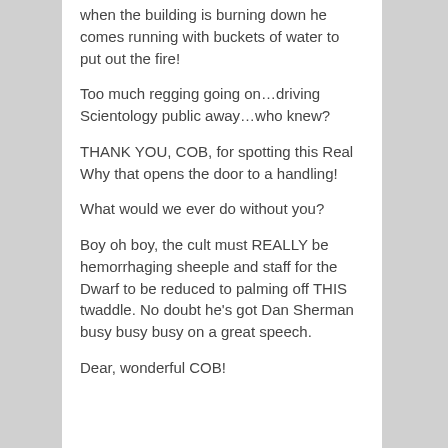when the building is burning down he comes running with buckets of water to put out the fire!
Too much regging going on…driving Scientology public away…who knew?
THANK YOU, COB, for spotting this Real Why that opens the door to a handling!
What would we ever do without you?
Boy oh boy, the cult must REALLY be hemorrhaging sheeple and staff for the Dwarf to be reduced to palming off THIS twaddle. No doubt he's got Dan Sherman busy busy busy on a great speech.
Dear, wonderful COB!